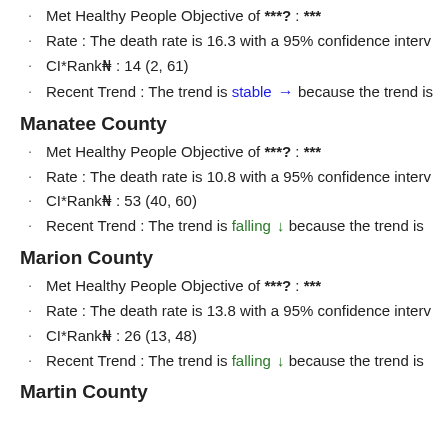Met Healthy People Objective of ***?: ***
Rate : The death rate is 16.3 with a 95% confidence interv
CI*Rank⋕ : 14 (2, 61)
Recent Trend : The trend is stable → because the trend is
Manatee County
Met Healthy People Objective of ***?: ***
Rate : The death rate is 10.8 with a 95% confidence interv
CI*Rank⋕ : 53 (40, 60)
Recent Trend : The trend is falling ↓ because the trend is
Marion County
Met Healthy People Objective of ***?: ***
Rate : The death rate is 13.8 with a 95% confidence interv
CI*Rank⋕ : 26 (13, 48)
Recent Trend : The trend is falling ↓ because the trend is
Martin County